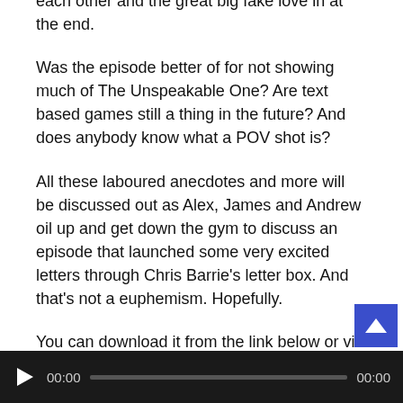each other and the great big fake love in at the end.
Was the episode better of for not showing much of The Unspeakable One? Are text based games still a thing in the future? And does anybody know what a POV shot is?
All these laboured anecdotes and more will be discussed out as Alex, James and Andrew oil up and get down the gym to discuss an episode that launched some very excited letters through Chris Barrie's letter box. And that's not a euphemism. Hopefully.
You can download it from the link below or via iTunes and if you enjoy it then please do leave us a rating/review to let other people know; we'd greatly appreciate it. You can also stream the podcast on the player below:
iTunes / RSS / Android /  Direct Download / Stream:
[Figure (other): Audio player bar with play button, time display 00:00, progress bar, and end time 00:00 on dark background]